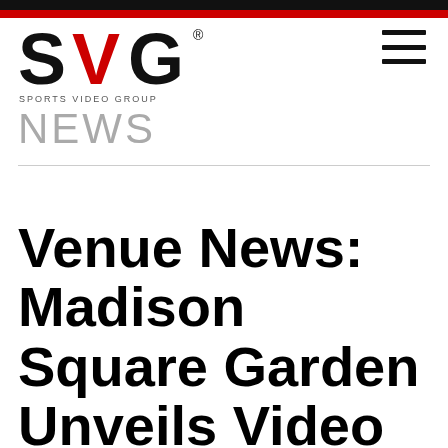[Figure (logo): SVG Sports Video Group logo with red slash mark and bold letters]
NEWS
Venue News: Madison Square Garden Unveils Video Board: Sun